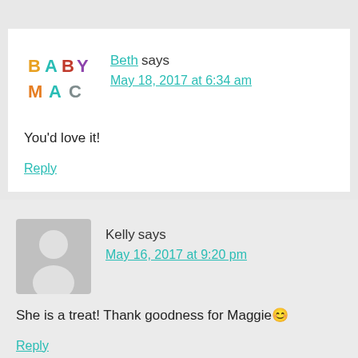[Figure (logo): BabyMac logo — colorful illustrated letters spelling BABY MAC]
Beth says
May 18, 2017 at 6:34 am
You'd love it!
Reply
[Figure (illustration): Generic grey silhouette avatar placeholder for user Kelly]
Kelly says
May 16, 2017 at 9:20 pm
She is a treat! Thank goodness for Maggie 😊
Reply